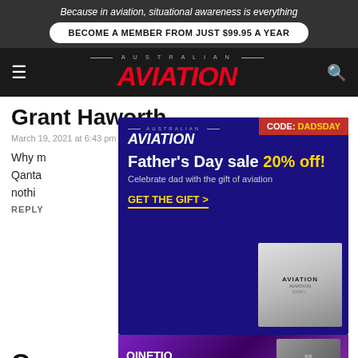Because in aviation, situational awareness is everything
BECOME A MEMBER FROM JUST $99.95 A YEAR
[Figure (logo): Australian Aviation magazine logo with red italic AVIATION text on dark background with hamburger menu and search icon]
Grant Haworth
March 19, 2021 at 6:43 pm
Why m... ot Qanta... nothi...
REPLY
[Figure (infographic): Australian Aviation Father's Day sale advertisement with CODE: DADSDAY badge, 20% off promotion, GET THE GIFT CTA button, and magazine images on dark blue background]
[Figure (infographic): QinetiQ advertisement: Enabling critical UAS technologies with purple gradient background and drone imagery]
Cyru...